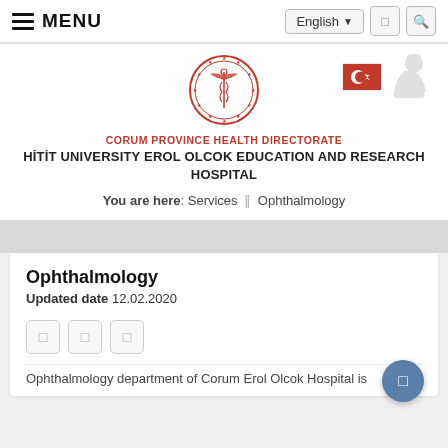≡ MENU   English ▾  □  🔍
[Figure (logo): Corum Province Health Directorate official circular emblem with caduceus symbol in red]
[Figure (illustration): Turkish flag and Ataturk silhouette in the top right corner of the header]
CORUM PROVINCE HEALTH DIRECTORATE
HITIT UNIVERSITY EROL OLCOK EDUCATION AND RESEARCH HOSPITAL
You are here: Services ‖ Ophthalmology
Ophthalmology
Updated date 12.02.2020
Ophthalmology department of Corum Erol Olcok Hospital is